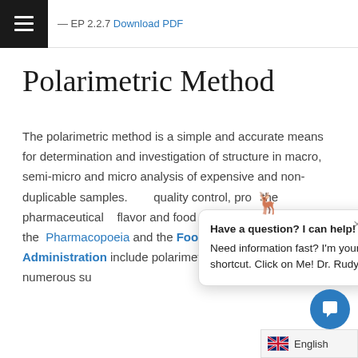— EP 2.2.7 Download PDF
Polarimetric Method
The polarimetric method is a simple and accurate means for determination and investigation of structure in macro, semi-micro and micro analysis of expensive and non-duplicable samples. [obscured] quality control, pro[obscured] the pharmaceutical [obscured] flavor and food indu[obscured] established that the [obscured] Pharmacopoeia and the Food & Drug Administration include polarimetric specifications for numerous su[obscured]